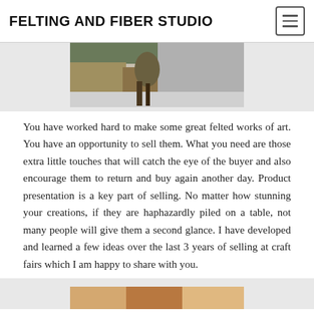FELTING AND FIBER STUDIO
[Figure (photo): Photo of a metal bird sculpture on a concrete surface next to a wooden log/stump, outdoors]
You have worked hard to make some great felted works of art. You have an opportunity to sell them. What you need are those extra little touches that will catch the eye of the buyer and also encourage them to return and buy again another day. Product presentation is a key part of selling. No matter how stunning your creations, if they are haphazardly piled on a table, not many people will give them a second glance. I have developed and learned a few ideas over the last 3 years of selling at craft fairs which I am happy to share with you.
[Figure (photo): Partial photo visible at bottom of page, appears to show craft fair or market items]